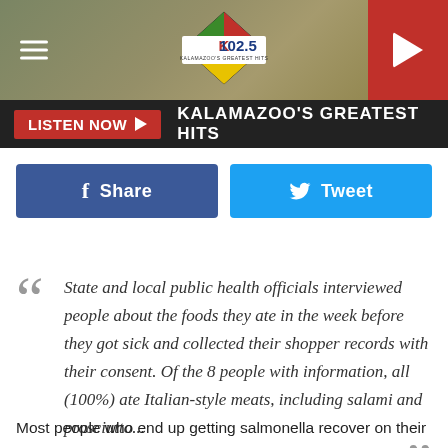[Figure (screenshot): K102.5 radio station header with logo, hamburger menu, and red play button]
LISTEN NOW ▶  KALAMAZOO'S GREATEST HITS
[Figure (infographic): Facebook Share button (blue) and Twitter Tweet button (light blue)]
" State and local public health officials interviewed people about the foods they ate in the week before they got sick and collected their shopper records with their consent. Of the 8 people with information, all (100%) ate Italian-style meats, including salami and prosciutto... "
Most people who end up getting salmonella recover on their